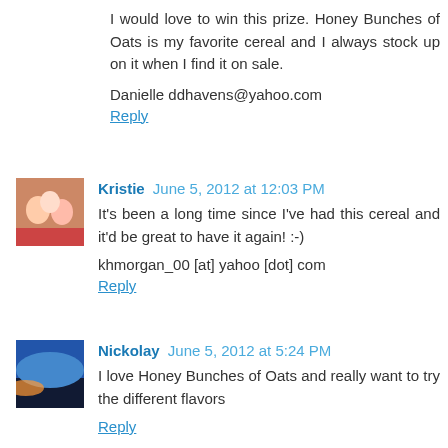I would love to win this prize. Honey Bunches of Oats is my favorite cereal and I always stock up on it when I find it on sale.
Danielle ddhavens@yahoo.com
Reply
Kristie  June 5, 2012 at 12:03 PM
It's been a long time since I've had this cereal and it'd be great to have it again! :-)
khmorgan_00 [at] yahoo [dot] com
Reply
Nickolay  June 5, 2012 at 5:24 PM
I love Honey Bunches of Oats and really want to try the different flavors
Reply